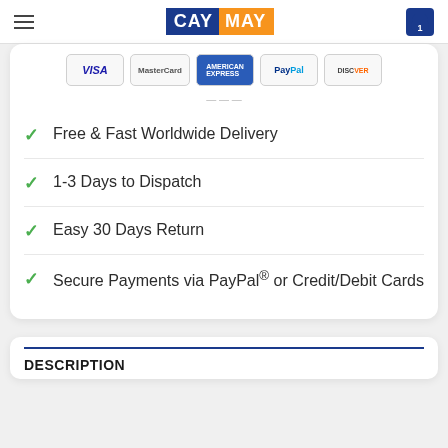CAYMAY — navigation header with logo and cart
[Figure (logo): Payment method logos: VISA, MasterCard, American Express, PayPal, Discover]
Free & Fast Worldwide Delivery
1-3 Days to Dispatch
Easy 30 Days Return
Secure Payments via PayPal® or Credit/Debit Cards
DESCRIPTION